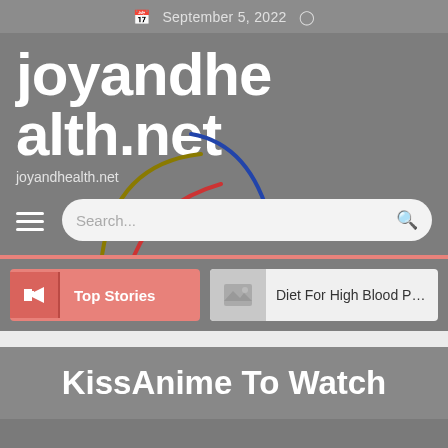September 5, 2022
joyandhealth.net
joyandhealth.net
[Figure (screenshot): Search bar with Google-style colored arc decoration behind it, and hamburger menu icon]
Top Stories
Diet For High Blood Press
KissAnime To Watch